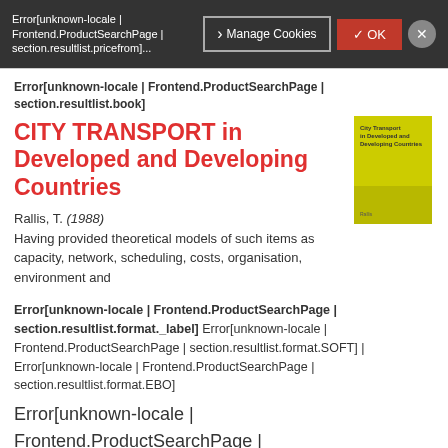Error[unknown-locale | Frontend.ProductSearchPage | section.resultlist.pricefrom]
Error[unknown-locale | Frontend.ProductSearchPage | section.resultlist.book]
CITY TRANSPORT in Developed and Developing Countries
Rallis, T. (1988)
Having provided theoretical models of such items as capacity, network, scheduling, costs, organisation, environment and
[Figure (illustration): Book cover for City Transport in Developed and Developing Countries, yellow/green cover with title text]
Error[unknown-locale | Frontend.ProductSearchPage | section.resultlist.format._label] Error[unknown-locale | Frontend.ProductSearchPage | section.resultlist.format.SOFT] | Error[unknown-locale | Frontend.ProductSearchPage | section.resultlist.format.EBO]
Error[unknown-locale | Frontend.ProductSearchPage | section.resultlist.pricefrom] $34.99
Error[unknown-locale | Frontend.ProductSearchPage | section.resultlist.book]